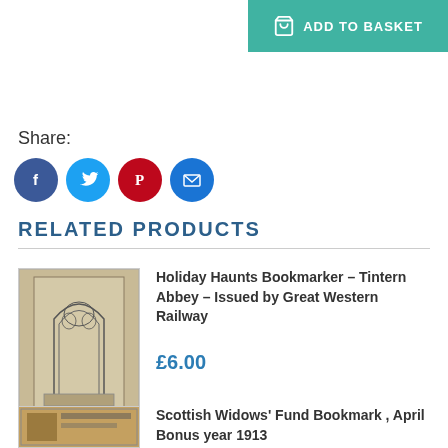[Figure (other): Add to Basket button with shopping cart icon on teal/turquoise background]
Share:
[Figure (infographic): Social media share icons: Facebook (blue circle), Twitter (light blue circle), Pinterest (red circle), Email (blue circle)]
RELATED PRODUCTS
[Figure (photo): Photograph of a bookmarker showing Tintern Abbey interior with gothic arched windows, pencil sketch style]
Holiday Haunts Bookmarker – Tintern Abbey – Issued by Great Western Railway
£6.00
[Figure (photo): Photograph of Scottish Widows Fund bookmark with decorative illustration]
Scottish Widows' Fund Bookmark , April Bonus year 1913